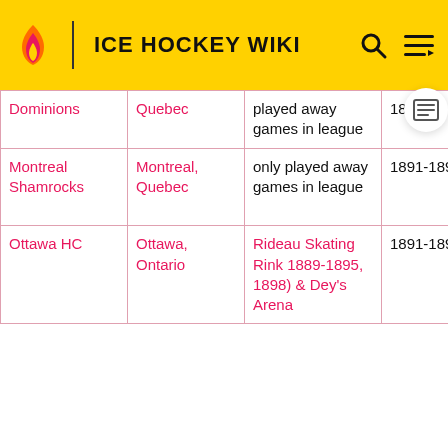ICE HOCKEY WIKI
| Team | Location | Arena | Years | Notes |
| --- | --- | --- | --- | --- |
| Dominions | Quebec | played away games in league | 1890 | team on... |
| Montreal Shamrocks | Montreal, Quebec | only played away games in league | 1891-1892 | revert to Montreal Crystals name |
| Ottawa HC | Ottawa, Ontario | Rideau Skating Rink 1889-1895, 1898) & Dey's Arena | 1891-1898 | join Canadian Amateur Hockey League |